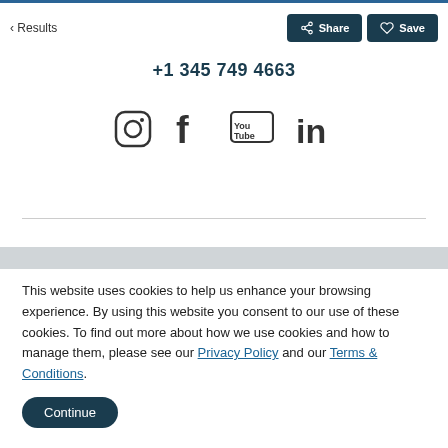< Results | Share | Save
+1 345 749 4663
[Figure (illustration): Social media icons: Instagram, Facebook, YouTube, LinkedIn]
This website uses cookies to help us enhance your browsing experience. By using this website you consent to our use of these cookies. To find out more about how we use cookies and how to manage them, please see our Privacy Policy and our Terms & Conditions.
Continue